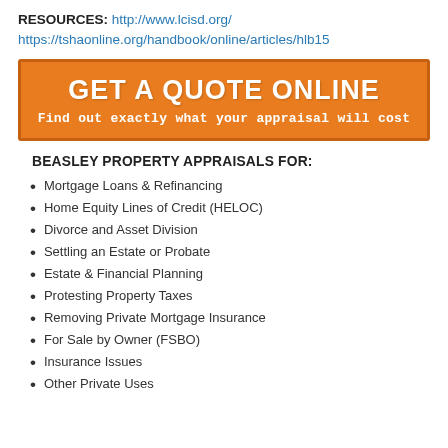RESOURCES: http://www.lcisd.org/ https://tshaonline.org/handbook/online/articles/hlb15
[Figure (infographic): Orange banner with text 'GET A QUOTE ONLINE' and subtitle 'Find out exactly what your appraisal will cost']
BEASLEY PROPERTY APPRAISALS FOR:
Mortgage Loans & Refinancing
Home Equity Lines of Credit (HELOC)
Divorce and Asset Division
Settling an Estate or Probate
Estate & Financial Planning
Protesting Property Taxes
Removing Private Mortgage Insurance
For Sale by Owner (FSBO)
Insurance Issues
Other Private Uses